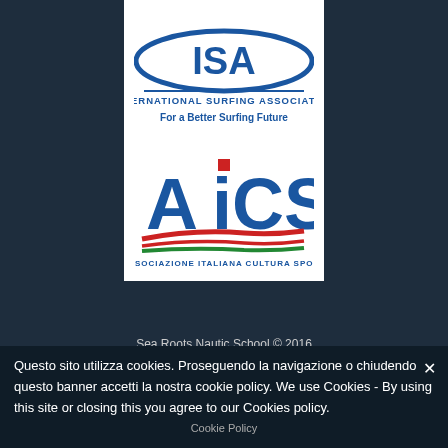[Figure (logo): ISA International Surfing Association logo - blue oval with ISA text, tagline 'For a Better Surfing Future']
[Figure (logo): AICS - Associazione Italiana Cultura Sport logo with Italian flag stripe design]
Sea Roots Nautic School © 2016
Sea roots ASD - Sede legale via Nazionale, 13 - 08208 Orosei - CF: 93051620917 - P.IVA: 01517900914
Questo sito utilizza cookies. Proseguendo la navigazione o chiudendo questo banner accetti la nostra cookie policy. We use Cookies - By using this site or closing this you agree to our Cookies policy.
Cookie Policy